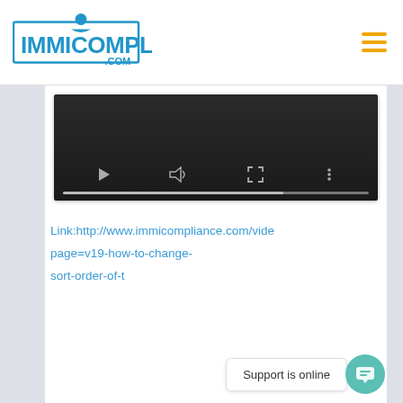[Figure (logo): ImmiCompliance.com logo with blue text and person icon]
[Figure (screenshot): Video player with dark background showing playback controls: play button, volume icon, fullscreen icon, more options icon, and a progress bar at the bottom]
Link:http://www.immicompliance.com/vide page=v19-how-to-change- sort-order-of-t
Support is online